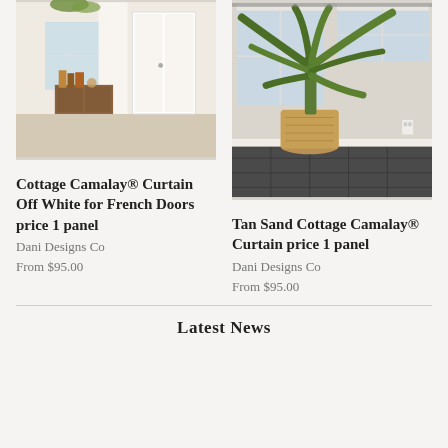[Figure (photo): Interior photo showing a bright room with a white French door, sheer curtain, wooden cabinet with books and plants, natural light]
[Figure (photo): Interior photo showing a room corner with large windows, a potted tropical palm plant in a wicker basket, dark tile floor]
Cottage Camalay® Curtain Off White for French Doors price 1 panel
Dani Designs Co
From $95.00
Tan Sand Cottage Camalay® Curtain price 1 panel
Dani Designs Co
From $95.00
Latest News